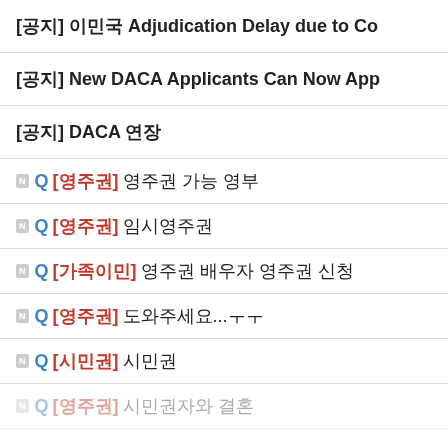[공지] 이민국 Adjudication Delay due to Co
[공지] New DACA Applicants Can Now App
[공지] DACA 연장
N Q [영주권] 영주권 가능 영부
N Q [영주권] 임시영주권
N Q [가족이민] 영주권 배우자 영주권 신청
N Q [영주권] 도와주세요...ㅜㅜ
N Q [시민권] 시민권
N Q [영주권] 시민권자와 결혼